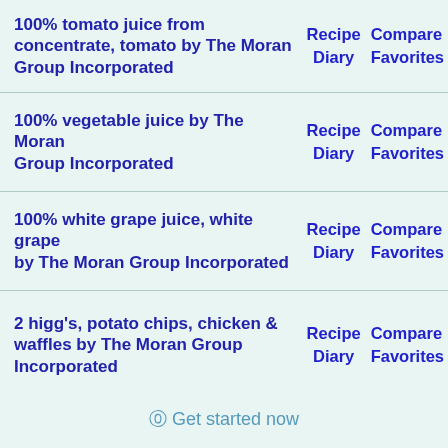100% tomato juice from concentrate, tomato by The Moran Group Incorporated | Recipe | Diary | Compare | Favorites
100% vegetable juice by The Moran Group Incorporated | Recipe | Diary | Compare | Favorites
100% white grape juice, white grape by The Moran Group Incorporated | Recipe | Diary | Compare | Favorites
2 higg's, potato chips, chicken & waffles by The Moran Group Incorporated | Recipe | Diary | Compare | Favorites
3 bean salad by The Moran Group | Recipe | Compare
⓪ Get started now